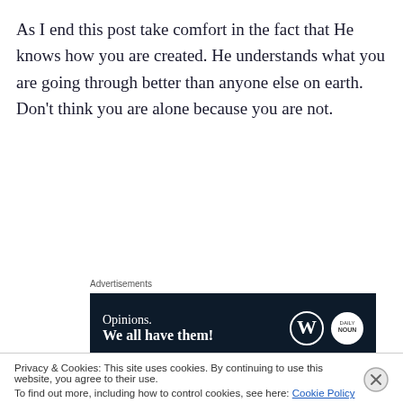As I end this post take comfort in the fact that He knows how you are created. He understands what you are going through better than anyone else on earth. Don’t think you are alone because you are not.
Advertisements
[Figure (other): Advertisement banner with dark navy background showing 'Opinions. We all have them!' with WordPress logo and another circular logo]
Privacy & Cookies: This site uses cookies. By continuing to use this website, you agree to their use.
To find out more, including how to control cookies, see here: Cookie Policy
Close and accept